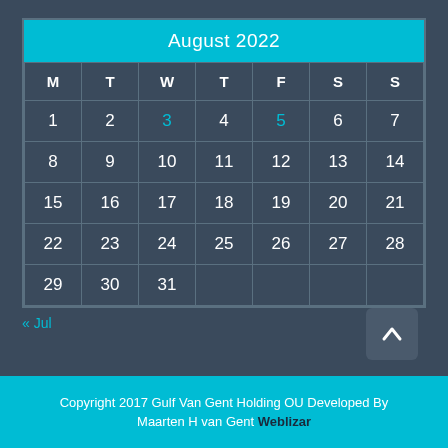August 2022
| M | T | W | T | F | S | S |
| --- | --- | --- | --- | --- | --- | --- |
| 1 | 2 | 3 | 4 | 5 | 6 | 7 |
| 8 | 9 | 10 | 11 | 12 | 13 | 14 |
| 15 | 16 | 17 | 18 | 19 | 20 | 21 |
| 22 | 23 | 24 | 25 | 26 | 27 | 28 |
| 29 | 30 | 31 |  |  |  |  |
« Jul
Copyright 2017 Gulf Van Gent Holding OU Developed By Maarten H van Gent Weblizar